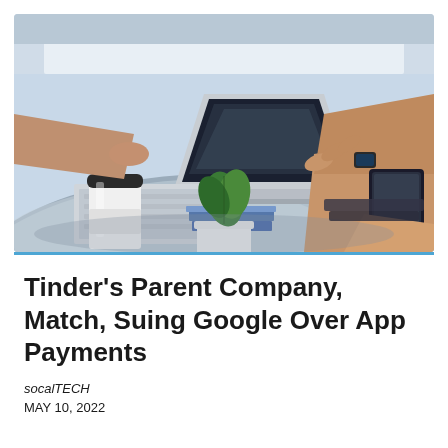[Figure (photo): Two people at a round table with laptop, coffee cup, small potted plant, smartphone and books. One person reaching across from left, another person on right using smartphone/tablet.]
Tinder's Parent Company, Match, Suing Google Over App Payments
socalTECH
MAY 10, 2022